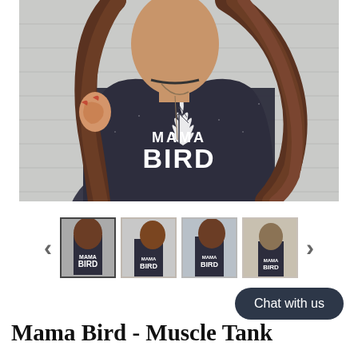[Figure (photo): Woman wearing a dark heathered muscle tank top with a white feather graphic and the text MAMA BIRD printed on it. She has long wavy brown hair and a tattoo on her arm.]
[Figure (photo): Thumbnail gallery showing four images of the Mama Bird Muscle Tank product from different angles, with left and right navigation arrows.]
Chat with us
Mama Bird - Muscle Tank